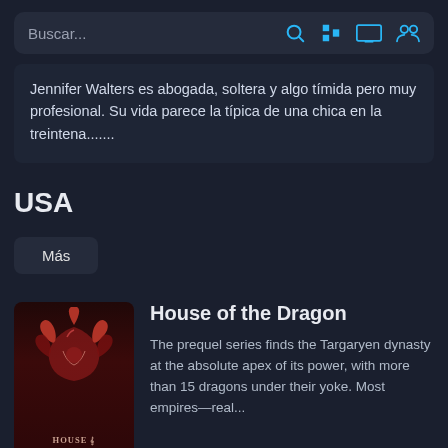Buscar...
Jennifer Walters es abogada, soltera y algo tímida pero muy profesional. Su vida parece la típica de una chica en la treintena.......
USA
Más
[Figure (illustration): House of the Dragon show poster with Targaryen dragon emblem on dark red background]
House of the Dragon
The prequel series finds the Targaryen dynasty at the absolute apex of its power, with more than 15 dragons under their yoke. Most empires—real...